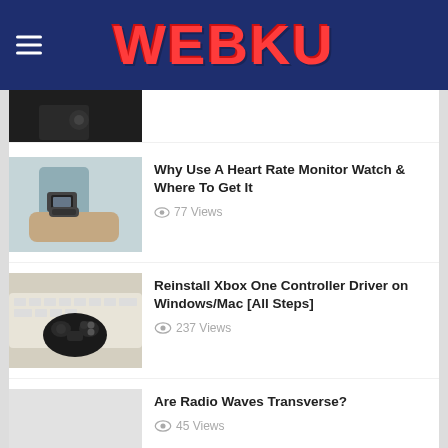WEBKU
[Figure (photo): Partially visible dark photo thumbnail]
Why Use A Heart Rate Monitor Watch & Where To Get It
77 Views
[Figure (photo): Person checking smartwatch on wrist]
Reinstall Xbox One Controller Driver on Windows/Mac [All Steps]
237 Views
[Figure (photo): Xbox One controller on white keyboard]
Are Radio Waves Transverse?
45 Views
[Figure (photo): Light gray placeholder thumbnail]
New Watches for Men in 2021
76 Views